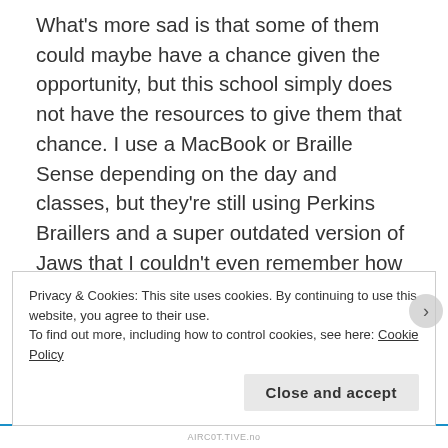What's more sad is that some of them could maybe have a chance given the opportunity, but this school simply does not have the resources to give them that chance. I use a MacBook or Braille Sense depending on the day and classes, but they're still using Perkins Braillers and a super outdated version of Jaws that I couldn't even remember how to use the last time I was there. I'm sure everybody there thinks I'm a horrible blind snob because I always have to tell them what they're missing, and I know the admin hates me and the other public school kids who do the state braille challenge because we've blown their
Privacy & Cookies: This site uses cookies. By continuing to use this website, you agree to their use.
To find out more, including how to control cookies, see here: Cookie Policy